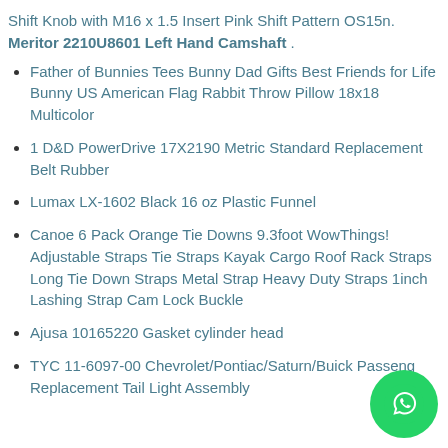Shift Knob with M16 x 1.5 Insert Pink Shift Pattern OS15n. Meritor 2210U8601 Left Hand Camshaft .
Father of Bunnies Tees Bunny Dad Gifts Best Friends for Life Bunny US American Flag Rabbit Throw Pillow 18x18 Multicolor
1 D&D PowerDrive 17X2190 Metric Standard Replacement Belt Rubber
Lumax LX-1602 Black 16 oz Plastic Funnel
Canoe 6 Pack Orange Tie Downs 9.3foot WowThings! Adjustable Straps Tie Straps Kayak Cargo Roof Rack Straps Long Tie Down Straps Metal Strap Heavy Duty Straps 1inch Lashing Strap Cam Lock Buckle
Ajusa 10165220 Gasket cylinder head
TYC 11-6097-00 Chevrolet/Pontiac/Saturn/Buick Passenger Replacement Tail Light Assembly
[Figure (logo): WhatsApp button icon — green circle with white phone handset]